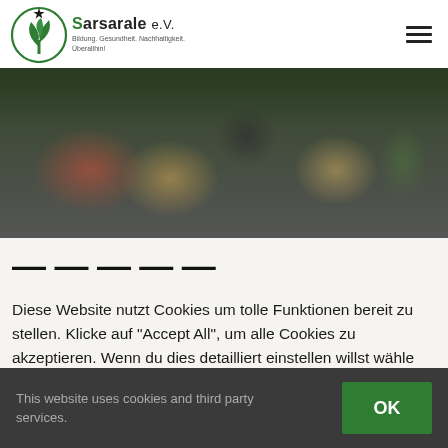[Figure (logo): Sarsarale e.V. logo with green Africa/plant icon in circle, star above, text 'Sarsarale e.V.' and tagline 'Bildung. Gesundheit. Nachhaltigkeit. Überallhin!']
[Figure (photo): Group of people gathered outdoors, some with cameras, colorful clothing, trees in background]
Diese Website nutzt Cookies um tolle Funktionen bereit zu stellen. Klicke auf "Accept All", um alle Cookies zu akzeptieren. Wenn du dies detailliert einstellen willst wähle "Cookie Settings"
This website uses cookies and third party services.